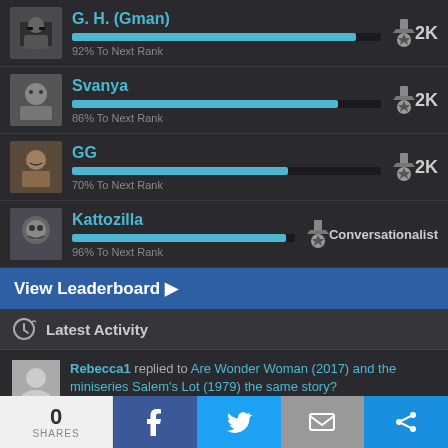G. H. (Gman) — 2K — 92% To Next Rank
Svanya — 2K — 86% To Next Rank
GG — 2K — 70% To Next Rank
Kattozilla — Conversationalist — 96% To Next Rank
View Leaderboard ▶
Latest Activity
Rebecca1 replied to Are Wonder Woman (2017) and the miniseries Salem's Lot (1979) the same story?
0 SHARES